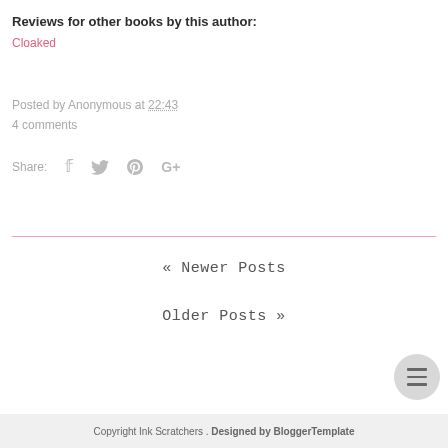Reviews for other books by this author:
Cloaked
Posted by Anonymous at 22:43
4 comments
Share:
« Newer Posts
Older Posts »
Copyright Ink Scratchers . Designed by BloggerTemplate